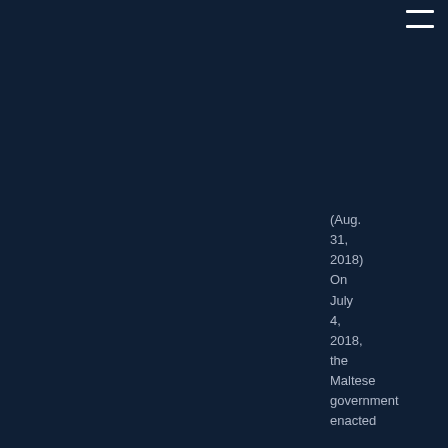[Figure (other): Navigation menu icon (hamburger) in top right corner, white lines on dark background]
(Aug. 31, 2018) On July 4, 2018, the Maltese government enacted